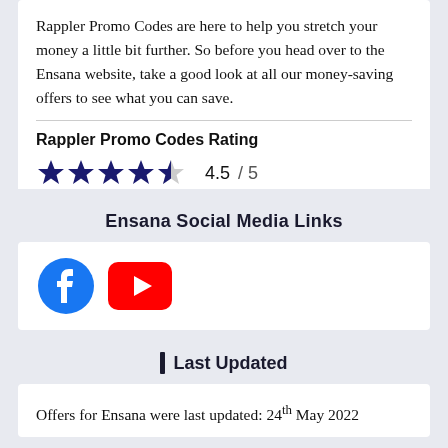Rappler Promo Codes are here to help you stretch your money a little bit further. So before you head over to the Ensana website, take a good look at all our money-saving offers to see what you can save.
Rappler Promo Codes Rating
[Figure (other): Star rating showing 4.5 out of 5 stars with text '4.5 / 5']
Ensana Social Media Links
[Figure (logo): Facebook logo icon (circular blue) and YouTube logo icon (red rounded rectangle with play button)]
Last Updated
Offers for Ensana were last updated: 24th May 2022